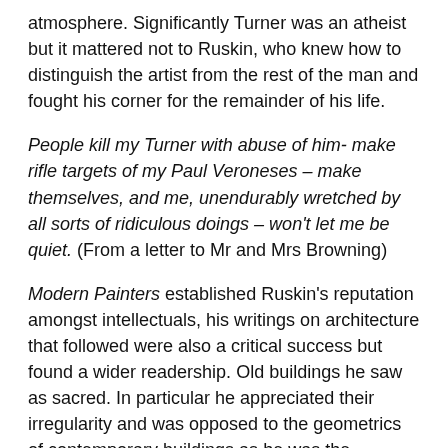atmosphere. Significantly Turner was an atheist but it mattered not to Ruskin, who knew how to distinguish the artist from the rest of the man and fought his corner for the remainder of his life.
People kill my Turner with abuse of him- make rifle targets of my Paul Veroneses – make themselves, and me, unendurably wretched by all sorts of ridiculous doings – won't let me be quiet. (From a letter to Mr and Mrs Browning)
Modern Painters established Ruskin's reputation amongst intellectuals, his writings on architecture that followed were also a critical success but found a wider readership. Old buildings he saw as sacred. In particular he appreciated their irregularity and was opposed to the geometrics of contemporary buildings as he was the mechanisation of society. The restoration of old buildings he saw as sacrilege. The Seven Lamps of Architecture was published in 1849, the seven lamps referring to the demands that he thought